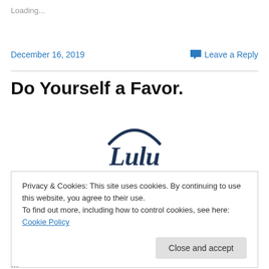Loading...
December 16, 2019
Leave a Reply
Do Yourself a Favor.
[Figure (logo): Lulu logo — stylized dark navy script lettering reading 'Lulu' with a curved oval arc above]
Privacy & Cookies: This site uses cookies. By continuing to use this website, you agree to their use.
To find out more, including how to control cookies, see here: Cookie Policy
Close and accept
...